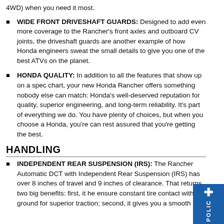WIDE FRONT DRIVESHAFT GUARDS: Designed to add even more coverage to the Rancher's front axles and outboard CV joints, the driveshaft guards are another example of how Honda engineers sweat the small details to give you one of the best ATVs on the planet.
HONDA QUALITY: In addition to all the features that show up on a spec chart, your new Honda Rancher offers something nobody else can match: Honda's well-deserved reputation for quality, superior engineering, and long-term reliability. It's part of everything we do. You have plenty of choices, but when you choose a Honda, you're can rest assured that you're getting the best.
HANDLING
INDEPENDENT REAR SUSPENSION (IRS): The Rancher Automatic DCT with Independent Rear Suspension (IRS) has over 8 inches of travel and 9 inches of clearance. That returns two big benefits: first, it he ensure constant tire contact with the ground for superior traction; second, it gives you a smooth ri